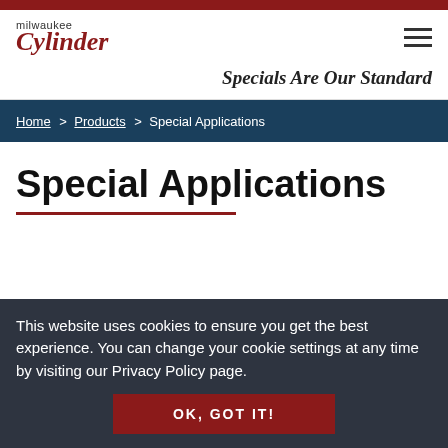[Figure (logo): Milwaukee Cylinder logo with red script text]
Specials Are Our Standard
Home > Products > Special Applications
Special Applications
This website uses cookies to ensure you get the best experience. You can change your cookie settings at any time by visiting our Privacy Policy page.
OK, GOT IT!